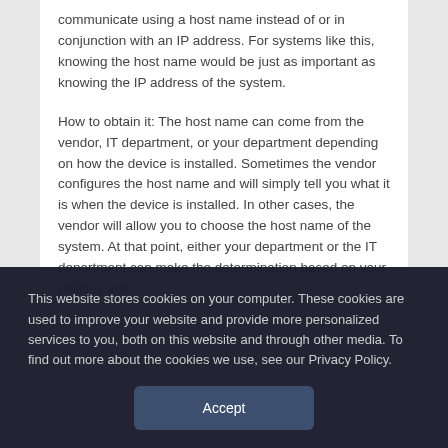communicate using a host name instead of or in conjunction with an IP address. For systems like this, knowing the host name would be just as important as knowing the IP address of the system.
How to obtain it: The host name can come from the vendor, IT department, or your department depending on how the device is installed. Sometimes the vendor configures the host name and will simply tell you what it is when the device is installed. In other cases, the vendor will allow you to choose the host name of the system. At that point, either your department or the IT department can make the determination based on your policies and
This website stores cookies on your computer. These cookies are used to improve your website and provide more personalized services to you, both on this website and through other media. To find out more about the cookies we use, see our Privacy Policy.
Accept